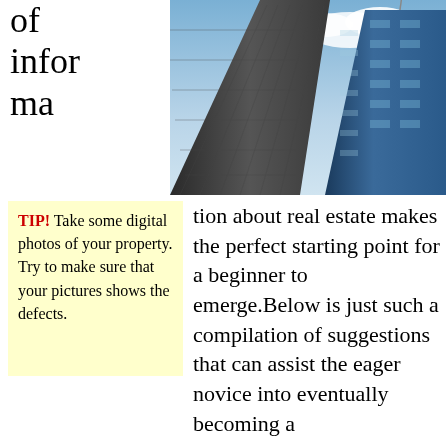of informa
[Figure (photo): Two tall skyscrapers photographed from below against a partly cloudy blue sky]
TIP! Take some digital photos of your property. Try to make sure that your pictures shows the defects.
tion about real estate makes the perfect starting point for a beginner to emerge.Below is just such a compilation of suggestions that can assist the eager novice into eventually becoming a successful commercial real estate.
Don’t jump into any investment without doing the proper amount of research. You may soon
TIP! Try practicing patience and remain calm, if you are